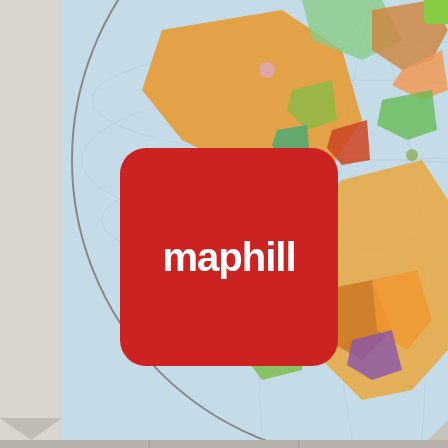[Figure (map): 3D globe showing world political map with colored countries, centered on Americas and Europe/Africa. Maphill logo (red rounded square with white text) overlaid on left portion of globe.]
2D   4
3D   4
Panoramic   4
Satelli
Political
[Figure (map): Small thumbnail maps showing satellite and political world map views]
Political map illustrate
have divided up the w